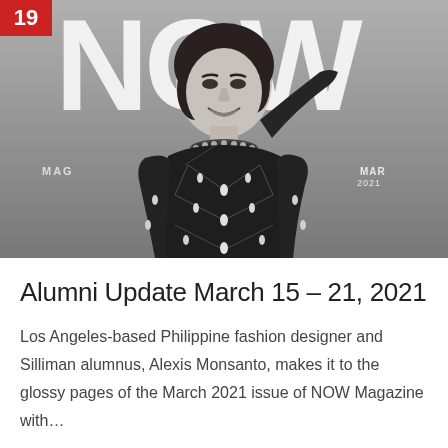[Figure (photo): Black and white magazine cover of NOW Magazine, March 2021. A woman in a beaded black mesh gown with a jeweled collar necklace poses with one hand raised to her forehead. Large 'NOW' text appears behind her. A red badge with '19' is in the top left corner. Text reads 'MAR 2021' on the right side.]
Alumni Update March 15 – 21, 2021
Los Angeles-based Philippine fashion designer and Silliman alumnus, Alexis Monsanto, makes it to the glossy pages of the March 2021 issue of NOW Magazine with…